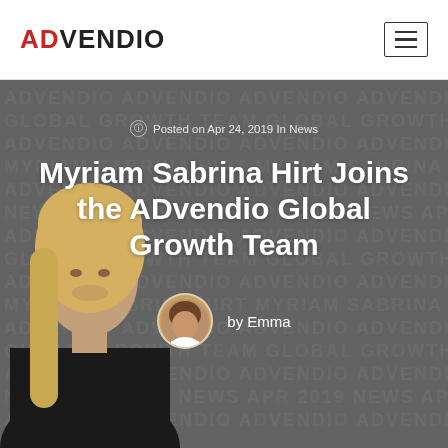[Figure (logo): ADvendio logo with AD in red and VENDIO in dark gray, navigation header with hamburger menu icon]
Posted on Apr 24, 2019 In News
Myriam Sabrina Hirt Joins the ADvendio Global Growth Team
by Emma
[Figure (photo): Hero background image showing a dark gray textured background with watermark text pattern, and a partial photo of a blonde woman on the left side. Author avatar (Emma) circular portrait photo shown at the bottom center.]